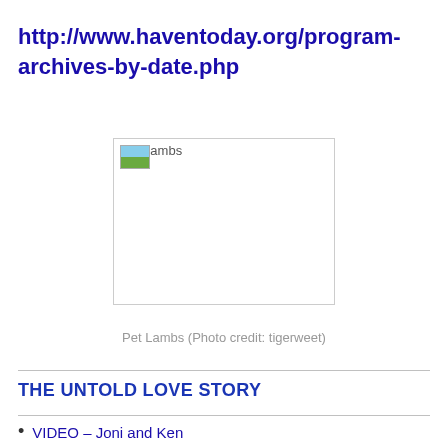http://www.haventoday.org/program-archives-by-date.php
[Figure (photo): Broken/placeholder image labeled 'Pet Lambs']
Pet Lambs (Photo credit: tigerweet)
THE UNTOLD LOVE STORY
VIDEO – Joni and Ken